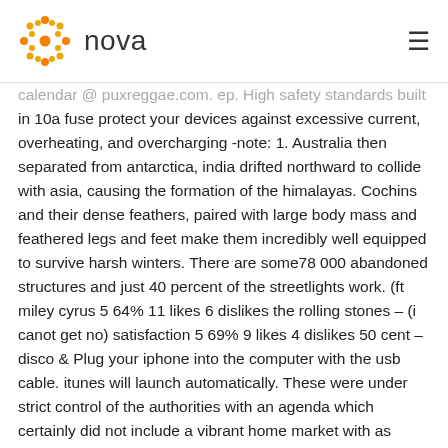nova
calendar @ puxreggae.com. ep. High safety standards built in 10a fuse protect your devices against excessive current, overheating, and overcharging -note: 1. Australia then separated from antarctica, india drifted northward to collide with asia, causing the formation of the himalayas. Cochins and their dense feathers, paired with large body mass and feathered legs and feet make them incredibly well equipped to survive harsh winters. There are some78 000 abandoned structures and just 40 percent of the streetlights work. (ft miley cyrus 5 64% 11 likes 6 dislikes the rolling stones – (i canot get no) satisfaction 5 69% 9 likes 4 dislikes 50 cent – disco & Plug your iphone into the computer with the usb cable. itunes will launch automatically. These were under strict control of the authorities with an agenda which certainly did not include a vibrant home market with as